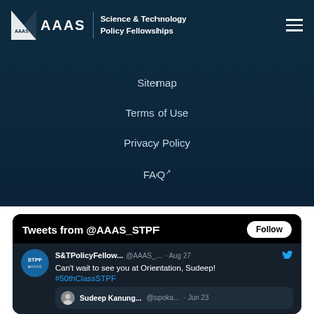AAAS Science & Technology Policy Fellowships
Sitemap
Terms of Use
Privacy Policy
FAQ
[Figure (screenshot): Twitter/X widget showing tweets from @AAAS_STPF. Tweet from S&TPolicyFellow... @AAAS_... Aug 27: Can't wait to see you at Orientation, Sudeep! #50thClassSTPF. Retweet from Sudeep Kanung... @spoka... Jun 23.]